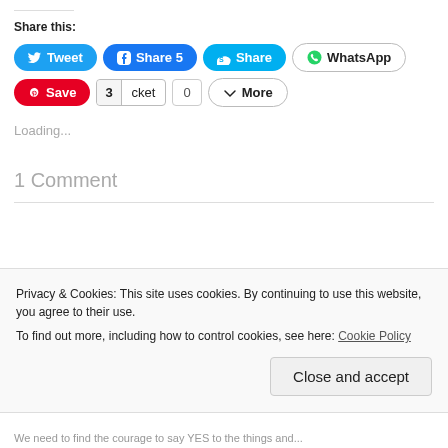Share this:
[Figure (screenshot): Social sharing buttons: Tweet, Share 5 (Facebook), Share (Skype), WhatsApp, Save (Pinterest), 3 Pocket, 0, More]
Loading...
1 Comment
IN RELATIONSHIP, LIVING LIFE
Privacy & Cookies: This site uses cookies. By continuing to use this website, you agree to their use. To find out more, including how to control cookies, see here: Cookie Policy
Close and accept
We need to find the courage to say YES to the things and...